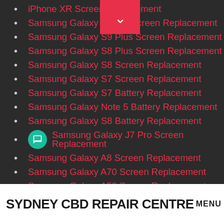iPhone XR Screen Replacement
Samsung Galaxy Note 8 Screen Replacement
Samsung Galaxy S9 Plus Screen Replacement
Samsung Galaxy S8 Plus Screen Replacement
Samsung Galaxy S8 Screen Replacement
Samsung Galaxy S7 Screen Replacement
Samsung Galaxy S7 Battery Replacement
Samsung Galaxy Note 5 Battery Replacement
Samsung Galaxy S8 Battery Replacement
Samsung Galaxy J7 Pro Screen Replacement
Samsung Galaxy A8 Screen Replacement
Samsung Galaxy A70 Screen Replacement
Samsung Galaxy A50 Screen Replacement
Samsung Galaxy A30 Screen Replacement
Apple Watch Series 3 Screen Replacement
Apple Watch Series 4 Screen Replacement
OnePlus 6t Screen Replacement
SYDNEY CBD REPAIR CENTRE MENU ☰